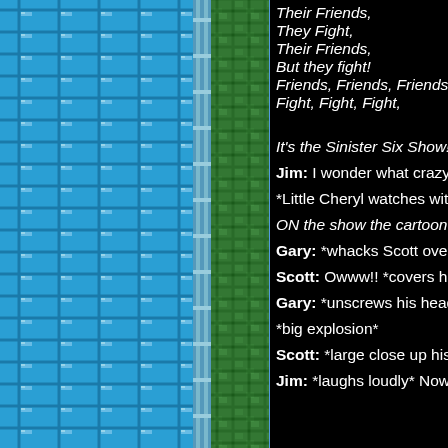[Figure (illustration): Pixel art game background: left portion shows blue brick wall pattern, right portion shows green stone/brick wall pattern, with a vertical border strip between them resembling a platformer game level.]
Their Friends,
They Fight,
Their Friends,
But they fight!
Friends, Friends, Friends,
Fight, Fight, Fight,

It's the Sinister Six Show!!

Jim: I wonder what crazy a

*Little Cheryl watches with

ON the show the cartoon n

Gary: *whacks Scott over

Scott: Owww!! *covers his

Gary: *unscrews his head

*big explosion*

Scott: *large close up his

Jim: *laughs loudly* Now